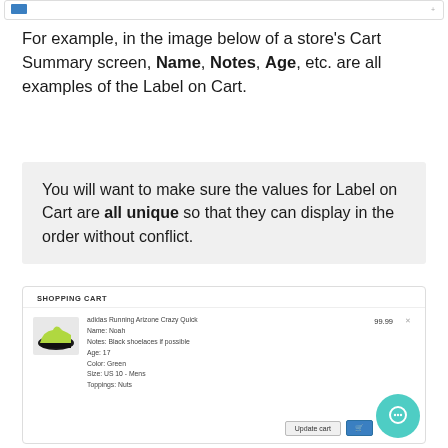[Figure (screenshot): Top portion of a store Cart Summary screen (cropped, partial view at top)]
For example, in the image below of a store's Cart Summary screen, Name, Notes, Age, etc. are all examples of the Label on Cart.
You will want to make sure the values for Label on Cart are all unique so that they can display in the order without conflict.
[Figure (screenshot): Shopping Cart screen showing an adidas Running Arizone Crazy Quick shoe item with fields: Name: Noah, Notes: Black shoelaces if possible, Age: 17, Color: Green, Size: US 10 - Mens, Toppings: Nuts. Price 99.99. Buttons: Update cart and a cart icon button. A teal chat bubble icon in the bottom right.]